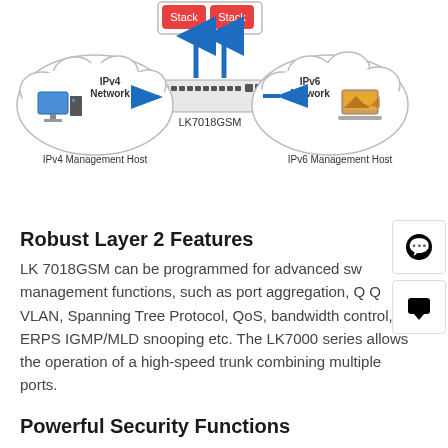[Figure (network-graph): Network diagram showing LK7018GSM switch in center connected to IPv4 Network/IPv4 Management Host (desktop computer) on the left and IPv6 Network/IPv6 Management Host (laptop) on the right. Two blue upward arrows above the switch point to a box labeled Stack Stack.]
Robust Layer 2 Features
LK 7018GSM can be programmed for advanced sw management functions, such as port aggregation, Q Q VLAN, Spanning Tree Protocol, QoS, bandwidth control, ERPS IGMP/MLD snooping etc. The LK7000 series allows the operation of a high-speed trunk combining multiple ports.
Powerful Security Functions
LK 7018GSM provides a comprehensive access control